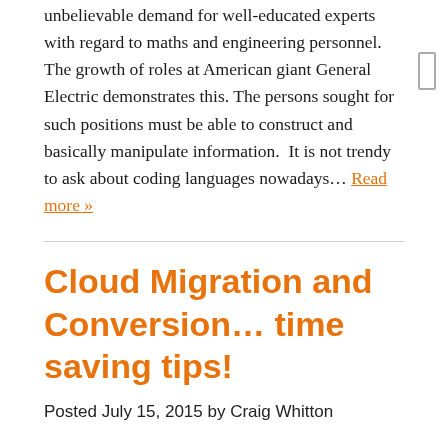The cloud computing phenomenon has created an unbelievable demand for well-educated experts with regard to maths and engineering personnel. The growth of roles at American giant General Electric demonstrates this. The persons sought for such positions must be able to construct and basically manipulate information. It is not trendy to ask about coding languages nowadays… Read more »
Cloud Migration and Conversion… time saving tips!
Posted July 15, 2015 by Craig Whitton
One of the hot buzz phrases in accounting at the moment is Cloud Migration or Cloud Conversion. It is the process of moving all of your accounting data from one system to